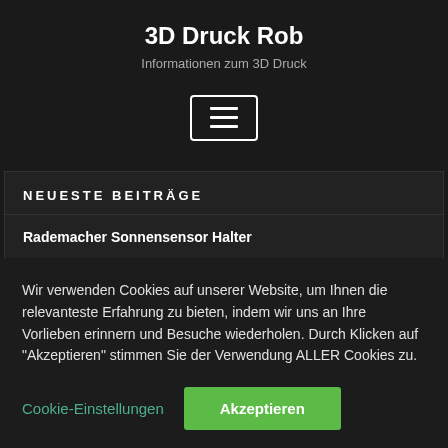3D Druck Rob
Informationen zum 3D Druck
[Figure (other): Hamburger menu button icon with three horizontal lines, white border, dark background]
NEUESTE BEITRÄGE
Rademacher Sonnensensor Halter
Fernsehergröße – Welche Maße hat mein TV – Zoll in cm
Wir verwenden Cookies auf unserer Website, um Ihnen die relevanteste Erfahrung zu bieten, indem wir uns an Ihre Vorlieben erinnern und Besuche wiederholen. Durch Klicken auf "Akzeptieren" stimmen Sie der Verwendung ALLER Cookies zu.
Cookie-Einstellungen
Akzeptieren